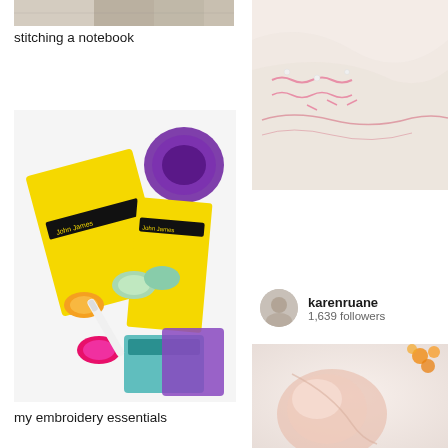[Figure (photo): Partial view of a stitched notebook edge, showing colorful thread stitching along binding]
stitching a notebook
[Figure (photo): Embroidery essentials laid on white background: yellow John James needle packs, purple thread spool, colorful embroidery floss skeins in orange, pink, mint green, white, and teal packaging supplies]
my embroidery essentials
[Figure (photo): Close-up of white fabric with delicate pink embroidery stitching and small pearl beads along the edge]
karenruane
1,639 followers
[Figure (photo): Close-up of soft pink and white fabric with embroidery details and orange floral elements visible at top right]